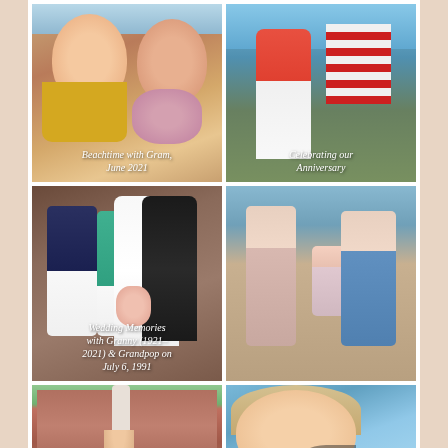[Figure (photo): Selfie of two women at the beach, one in a yellow top, one with flowers; caption reads 'Beachtime with Gram, June 2021']
[Figure (photo): Couple standing outdoors, woman in red top, man in American flag shirt; caption reads 'Celebrating our Anniversary']
[Figure (photo): Wedding photo with bride in white gown, groom in tuxedo, and two guests; caption reads 'Wedding Memories with Granny (1921-2021) & Grandpop on July 6, 1991']
[Figure (photo): Family group photo outdoors with a woman, man in blue shirt, and children]
[Figure (photo): Person standing in front of a brick building with white columns]
[Figure (photo): Selfie of a woman with blonde hair taken from inside a car]